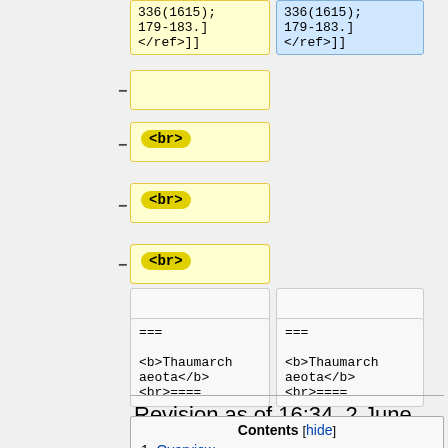[Figure (screenshot): Wikipedia diff view showing two columns. Left column (yellow background) shows deleted content, right column (blue background) shows added/retained content. Top rows show reference text '336(1615); 179-183.] </ref>]]'. Below are rows with minus markers showing empty row, then rows with '<br>' tag highlighted in yellow oval, three times. Bottom rows show neutral cells with '=== <b>Thaumarchaeota</b> <br>===' in both columns.]
Revision as of 16:34, 2 June 2020
| Contents | [hide] |
| --- | --- |
| 1 Overview |  |